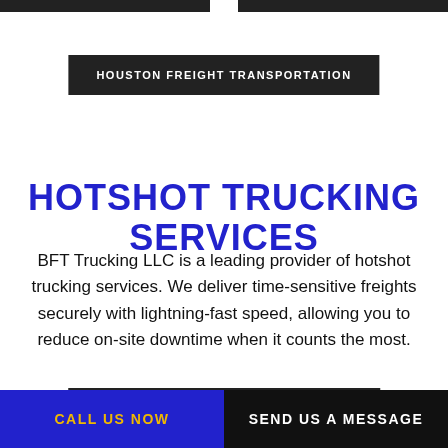HOUSTON FREIGHT TRANSPORTATION
HOTSHOT TRUCKING SERVICES
BFT Trucking LLC is a leading provider of hotshot trucking services. We deliver time-sensitive freights securely with lightning-fast speed, allowing you to reduce on-site downtime when it counts the most.
AUSTIN HOTSHOT TRUCKING SERVICES
CALL US NOW | SEND US A MESSAGE